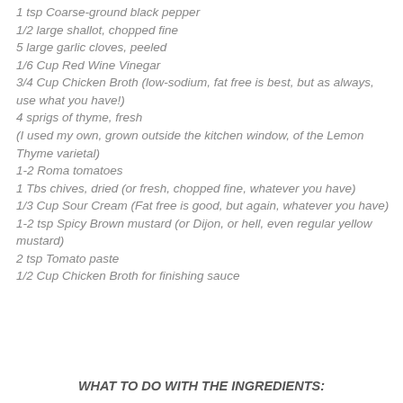1 tsp Coarse-ground black pepper
1/2 large shallot, chopped fine
5 large garlic cloves, peeled
1/6 Cup Red Wine Vinegar
3/4 Cup Chicken Broth (low-sodium, fat free is best, but as always, use what you have!)
4 sprigs of thyme, fresh
(I used my own, grown outside the kitchen window, of the Lemon Thyme varietal)
1-2 Roma tomatoes
1 Tbs chives, dried (or fresh, chopped fine, whatever you have)
1/3 Cup Sour Cream (Fat free is good, but again, whatever you have)
1-2 tsp Spicy Brown mustard (or Dijon, or hell, even regular yellow mustard)
2 tsp Tomato paste
1/2 Cup Chicken Broth for finishing sauce
WHAT TO DO WITH THE INGREDIENTS: